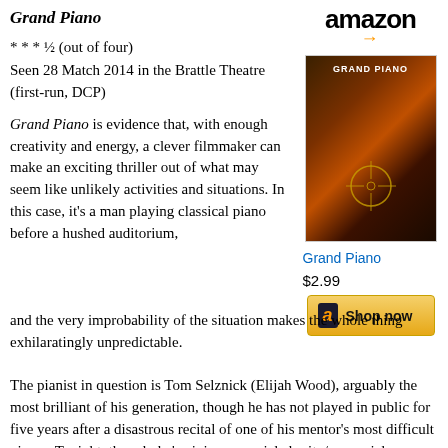Grand Piano
* * * ½ (out of four)
Seen 28 Match 2014 in the Brattle Theatre (first-run, DCP)
[Figure (other): Amazon logo and Grand Piano movie poster with shop now button, showing movie title 'GRAND PIANO', price $2.99, and a Shop now button with Amazon 'a' icon]
Grand Piano is evidence that, with enough creativity and energy, a clever filmmaker can make an exciting thriller out of what may seem like unlikely activities and situations. In this case, it's a man playing classical piano before a hushed auditorium, and the very improbability of the situation makes the whole thing exhilaratingly unpredictable.
The pianist in question is Tom Selznick (Elijah Wood), arguably the most brilliant of his generation, though he has not played in public for five years after a disastrous recital of one of his mentor's most difficult pieces. Tonight, though, he's giving a special charity/memorial performance, spearheaded by his movie-star wife Emma (Kerry Bishé), with longtime friend Reisinger (Don McManus) conducting